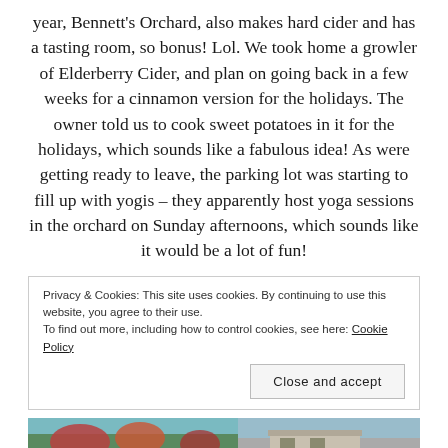year, Bennett's Orchard, also makes hard cider and has a tasting room, so bonus! Lol. We took home a growler of Elderberry Cider, and plan on going back in a few weeks for a cinnamon version for the holidays. The owner told us to cook sweet potatoes in it for the holidays, which sounds like a fabulous idea! As were getting ready to leave, the parking lot was starting to fill up with yogis – they apparently host yoga sessions in the orchard on Sunday afternoons, which sounds like it would be a lot of fun!
Privacy & Cookies: This site uses cookies. By continuing to use this website, you agree to their use.
To find out more, including how to control cookies, see here: Cookie Policy
[Figure (photo): Bottom strip showing two photos side by side: left photo appears to show trees/orchard with reddish foliage and blue sky; right photo shows a building or structure.]